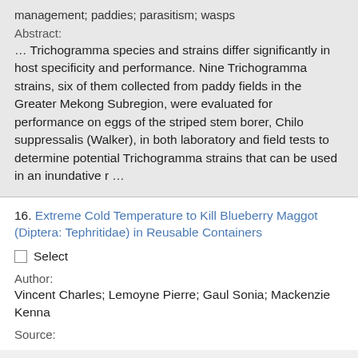management; paddies; parasitism; wasps
Abstract:
… Trichogramma species and strains differ significantly in host specificity and performance. Nine Trichogramma strains, six of them collected from paddy fields in the Greater Mekong Subregion, were evaluated for performance on eggs of the striped stem borer, Chilo suppressalis (Walker), in both laboratory and field tests to determine potential Trichogramma strains that can be used in an inundative r …
16. Extreme Cold Temperature to Kill Blueberry Maggot (Diptera: Tephritidae) in Reusable Containers
Select
Author:
Vincent Charles; Lemoyne Pierre; Gaul Sonia; Mackenzie Kenna
Source: